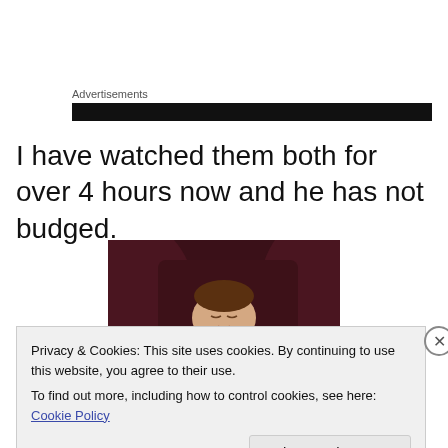Advertisements
I have watched them both for over 4 hours now and he has not budged.
[Figure (photo): A young child in a pink outfit sleeping/resting on dark red/maroon couch cushions, eyes closed, arms resting in front.]
Privacy & Cookies: This site uses cookies. By continuing to use this website, you agree to their use.
To find out more, including how to control cookies, see here: Cookie Policy
Close and accept